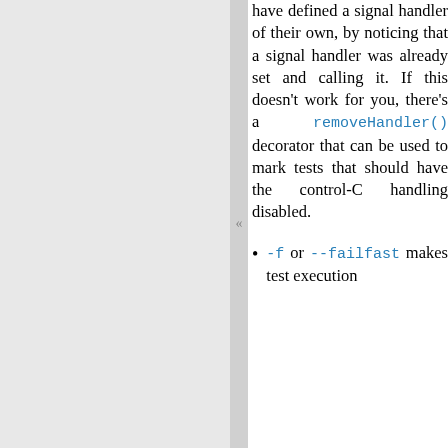have defined a signal handler of their own, by noticing that a signal handler was already set and calling it. If this doesn't work for you, there's a removeHandler() decorator that can be used to mark tests that should have the control-C handling disabled.
-f or --failfast makes test execution